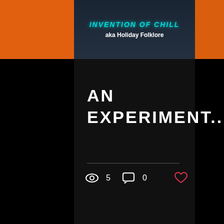[Figure (screenshot): Website/blog post card UI. Top section shows an album/book cover with orange side panels and a dark center with teal text reading 'INVENTION OF CHILL' and white subtitle 'aka Holiday Folklore'. Below is a dark card with large white uppercase text 'AN EXPERIMENT...' followed by a horizontal divider, view count (eye icon with 5), comment count (speech bubble icon with 0), and a heart/like icon in red. Navigation dots (one pink active, one gray inactive) appear below the card. A pink square with a black star icon appears on the left side. A gray circle and a white back-to-top button with chevron appear in the lower portion.]
AN EXPERIMENT...
aka Holiday Folklore
INVENTION OF CHILL
5
0